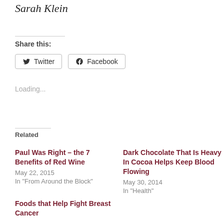Sarah Klein
Share this:
Twitter  Facebook
Loading...
Related
Paul Was Right – the 7 Benefits of Red Wine
May 22, 2015
In "From Around the Block"
Dark Chocolate That Is Heavy In Cocoa Helps Keep Blood Flowing
May 30, 2014
In "Health"
Foods that Help Fight Breast Cancer